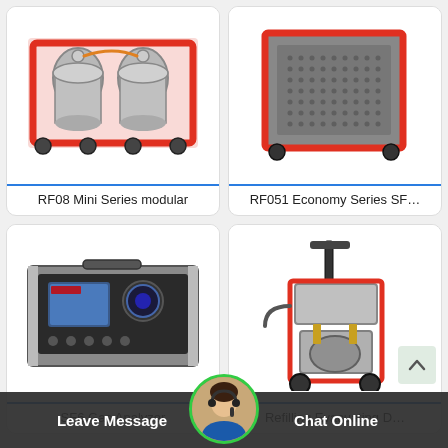[Figure (photo): RF08 Mini Series modular SF6 gas equipment in red frame with wheels and cylinders]
RF08 Mini Series modular
[Figure (photo): RF051 Economy Series SF6 gas handling unit, grey cabinet with red frame and wheels]
RF051 Economy Series SF…
[Figure (photo): SF6 Gas Analyzer device, grey box with display screen and control panel]
SF6 Gas Analyzer
[Figure (photo): SF6 Refilling Evacuating Device on red wheeled cart with compressor]
Refilling Evacuating D…
Leave Message   Chat Online